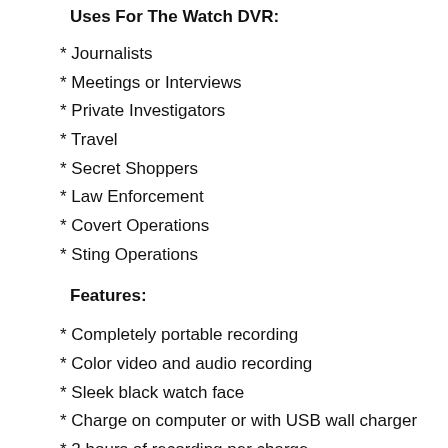Uses For The Watch DVR:
* Journalists
* Meetings or Interviews
* Private Investigators
* Travel
* Secret Shoppers
* Law Enforcement
* Covert Operations
* Sting Operations
Features:
* Completely portable recording
* Color video and audio recording
* Sleek black watch face
* Charge on computer or with USB wall charger
* 2 hours of recording per charge
* Time/date stamp